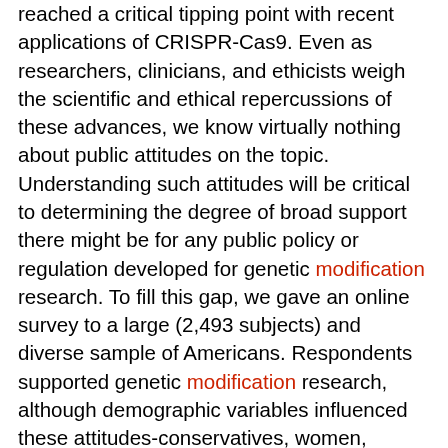reached a critical tipping point with recent applications of CRISPR-Cas9. Even as researchers, clinicians, and ethicists weigh the scientific and ethical repercussions of these advances, we know virtually nothing about public attitudes on the topic. Understanding such attitudes will be critical to determining the degree of broad support there might be for any public policy or regulation developed for genetic modification research. To fill this gap, we gave an online survey to a large (2,493 subjects) and diverse sample of Americans. Respondents supported genetic modification research, although demographic variables influenced these attitudes-conservatives, women, African-Americans, and older respondents, while supportive, were more cautious than liberals, men, other ethnicities, and younger respondents. Support was also was slightly muted when the risks (unanticipated mutations and possibility of eugenics) were made explicit. The information about genetic modification was also presented as contrasting vignettes, using one of five frames: genetic editing, engineering, hacking, modification, or surgery. Despite the fact that the media and academic use of frames describing the technology varies, these frames did not influence people's attitudes. These data contribute a current snapshot of public attitudes to inform policy with regard to human genetic modification.